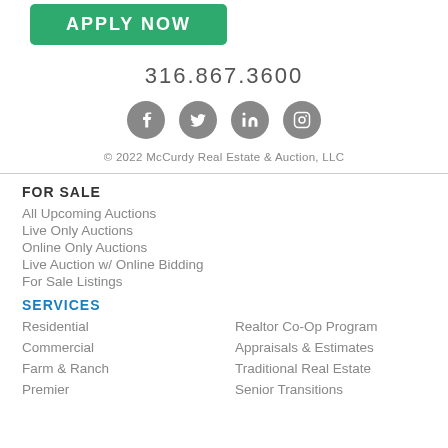[Figure (other): Green APPLY NOW button]
316.867.3600
[Figure (other): Social media icons: Facebook, Twitter, LinkedIn, Instagram]
© 2022 McCurdy Real Estate & Auction, LLC
FOR SALE
All Upcoming Auctions
Live Only Auctions
Online Only Auctions
Live Auction w/ Online Bidding
For Sale Listings
SERVICES
Residential
Realtor Co-Op Program
Commercial
Appraisals & Estimates
Farm & Ranch
Traditional Real Estate
Premier
Senior Transitions